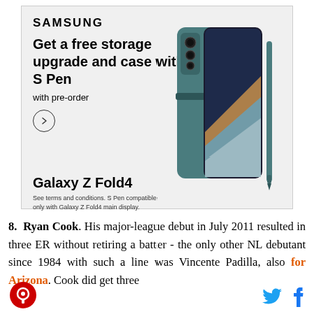[Figure (advertisement): Samsung advertisement for Galaxy Z Fold4 featuring a teal/green folding phone with S Pen. Text reads: SAMSUNG, Get a free storage upgrade and case with S Pen, with pre-order, Galaxy Z Fold4, See terms and conditions. S Pen compatible only with Galaxy Z Fold4 main display.]
8. Ryan Cook. His major-league debut in July 2011 resulted in three ER without retiring a batter - the only other NL debutant since 1984 with such a line was Vincente Padilla, also for Arizona. Cook did get three
[Figure (logo): Round red logo with camera/lens icon - website logo]
[Figure (logo): Twitter bird icon in blue and Facebook f icon in blue - social media icons]